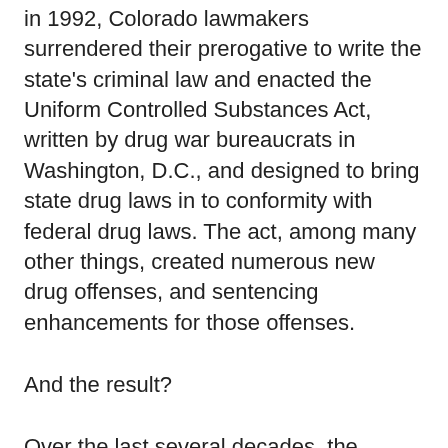in 1992, Colorado lawmakers surrendered their prerogative to write the state's criminal law and enacted the Uniform Controlled Substances Act, written by drug war bureaucrats in Washington, D.C., and designed to bring state drug laws in to conformity with federal drug laws. The act, among many other things, created numerous new drug offenses, and sentencing enhancements for those offenses.
And the result?
Over the last several decades, the percentage of inmates whose most serious sentencing offense is a drug offense has quadrupled to around 20 percent of Colorado's prison population. Drug